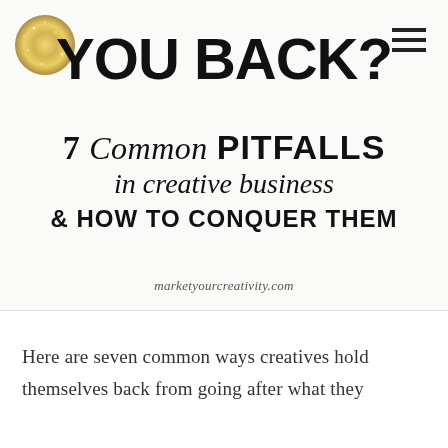[Figure (infographic): Banner image with large bold text 'YOU BACK?' at top, a gold glitter circle decoration top-left, hamburger menu icon top-right, subtitle text '7 Common PITFALLS in creative business & HOW TO CONQUER THEM', and website URL 'marketyourcreativity.com' at bottom of banner]
Here are seven common ways creatives hold themselves back from going after what they